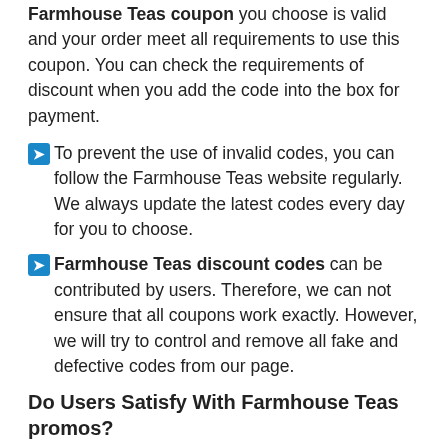Farmhouse Teas coupon you choose is valid and your order meet all requirements to use this coupon. You can check the requirements of discount when you add the code into the box for payment.
To prevent the use of invalid codes, you can follow the Farmhouse Teas website regularly. We always update the latest codes every day for you to choose.
Farmhouse Teas discount codes can be contributed by users. Therefore, we can not ensure that all coupons work exactly. However, we will try to control and remove all fake and defective codes from our page.
Do Users Satisfy With Farmhouse Teas promos?
Rating 4.5/5 stars from users.
Attracting more than 500 access every day during 1 year.
Receiving many positive feedbacks from consumers on social network.